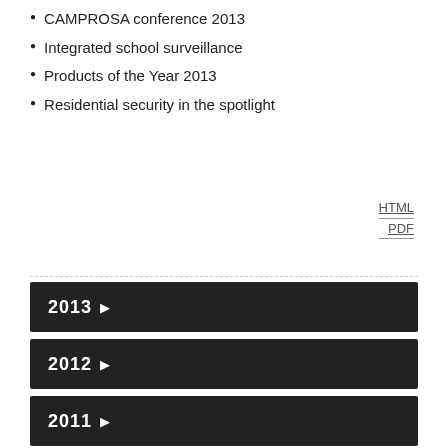CAMPROSA conference 2013
Integrated school surveillance
Products of the Year 2013
Residential security in the spotlight
HTML
PDF
2013 ▶
2012 ▶
2011 ▶
2010 ▶
2009 ▶